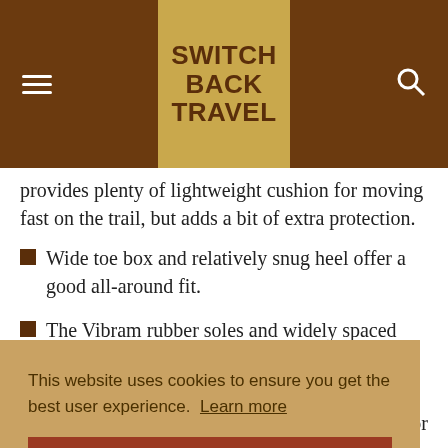SWITCH BACK TRAVEL
provides plenty of lightweight cushion for moving fast on the trail, but adds a bit of extra protection.
Wide toe box and relatively snug heel offer a good all-around fit.
The Vibram rubber soles and widely spaced lugs give confidence-inspiring grip on a wide variety of
at for help
This website uses cookies to ensure you get the best user experience. Learn more
Got it!
What We Don't